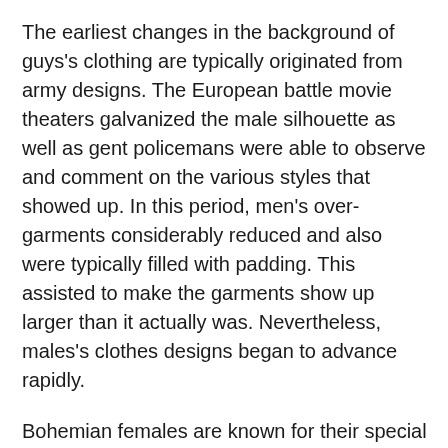The earliest changes in the background of guys's clothing are typically originated from army designs. The European battle movie theaters galvanized the male silhouette as well as gent policemans were able to observe and comment on the various styles that showed up. In this period, men's over-garments considerably reduced and also were typically filled with padding. This assisted to make the garments show up larger than it actually was. Nevertheless, males's clothes designs began to advance rapidly.
Bohemian females are known for their special gown design, combining convenience with style. Their garments usually integrate colorful layouts and intricate patterns. Their precious jewelry is